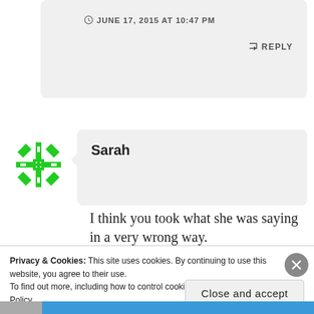JUNE 17, 2015 AT 10:47 PM
↳ REPLY
[Figure (logo): Green geometric snowflake-pattern avatar icon]
Sarah
I think you took what she was saying in a very wrong way.
She was sharing her own
Privacy & Cookies: This site uses cookies. By continuing to use this website, you agree to their use.
To find out more, including how to control cookies, see here: Cookie Policy
Close and accept